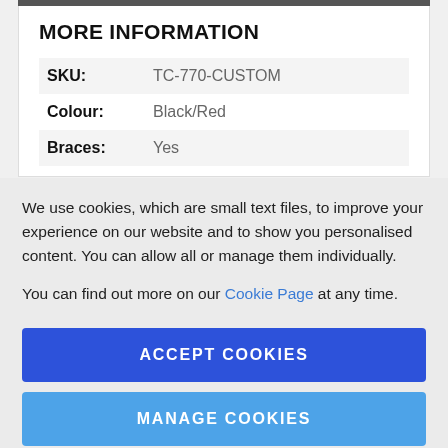MORE INFORMATION
| Field | Value |
| --- | --- |
| SKU: | TC-770-CUSTOM |
| Colour: | Black/Red |
| Braces: | Yes |
We use cookies, which are small text files, to improve your experience on our website and to show you personalised content. You can allow all or manage them individually.
You can find out more on our Cookie Page at any time.
ACCEPT COOKIES
MANAGE COOKIES